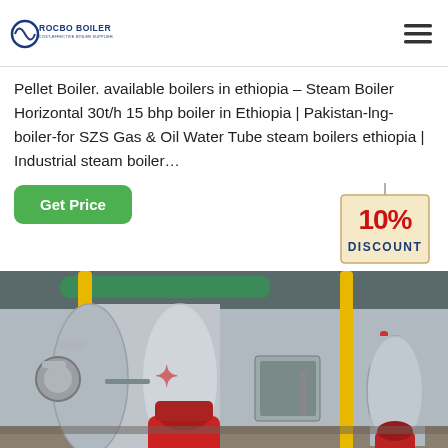ROCBO BOILER — COST-EFFECTIVE BOILER SUPPLIER
Pellet Boiler. available boilers in ethiopia – Steam Boiler Horizontal 30t/h 15 bhp boiler in Ethiopia | Pakistan-lng-boiler-for SZS Gas & Oil Water Tube steam boilers ethiopia | Industrial steam boiler…
[Figure (infographic): Green 'Get Price' button on the left; a '10% DISCOUNT' tag graphic on the right with red bold text and a tan/beige tag shape with string]
[Figure (photo): Industrial boiler room showing a large horizontal cylindrical boiler with red burner assembly, yellow gas pipes, red and green piping overhead, and a second boiler unit visible on the right side]